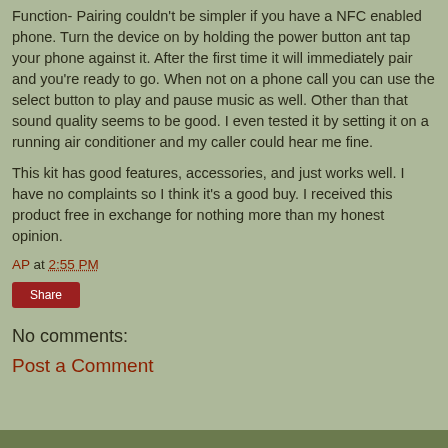Function- Pairing couldn't be simpler if you have a NFC enabled phone. Turn the device on by holding the power button ant tap your phone against it. After the first time it will immediately pair and you're ready to go. When not on a phone call you can use the select button to play and pause music as well. Other than that sound quality seems to be good. I even tested it by setting it on a running air conditioner and my caller could hear me fine.
This kit has good features, accessories, and just works well. I have no complaints so I think it's a good buy. I received this product free in exchange for nothing more than my honest opinion.
AP at 2:55 PM
Share
No comments:
Post a Comment